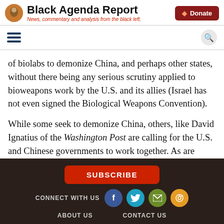Black Agenda Report — News, commentary and analysis from the black left.
of biolabs to demonize China, and perhaps other states, without there being any serious scrutiny applied to bioweapons work by the U.S. and its allies (Israel has not even signed the Biological Weapons Convention).
While some seek to demonize China, others, like David Ignatius of the Washington Post are calling for the U.S. and Chinese governments to work together. As are some Chinese officials. That can be a very dangerous proposition as well. Consider the dynamics of the other major weapon threatening humanity: nuclear weapons. The U.S. and Russia
SUBSCRIBE | CONNECT WITH US | ABOUT US | CONTACT US